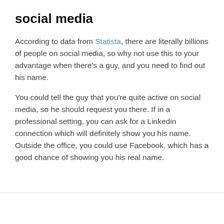social media
According to data from Statista, there are literally billions of people on social media, so why not use this to your advantage when there’s a guy, and you need to find out his name.
You could tell the guy that you’re quite active on social media, so he should request you there. If in a professional setting, you can ask for a Linkedin connection which will definitely show you his name. Outside the office, you could use Facebook, which has a good chance of showing you his real name.